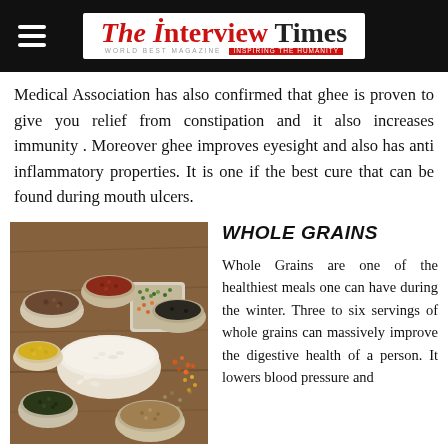The Interview Times
Medical Association has also confirmed that ghee is proven to give you relief from constipation and it also increases immunity . Moreover ghee improves eyesight and also has anti inflammatory properties. It is one if the best cure that can be found during mouth ulcers.
[Figure (photo): Multiple bowls and containers filled with various whole grains, lentils, and seeds arranged on a wooden surface]
WHOLE GRAINS
Whole Grains are one of the healthiest meals one can have during the winter. Three to six servings of whole grains can massively improve the digestive health of a person. It lowers blood pressure and